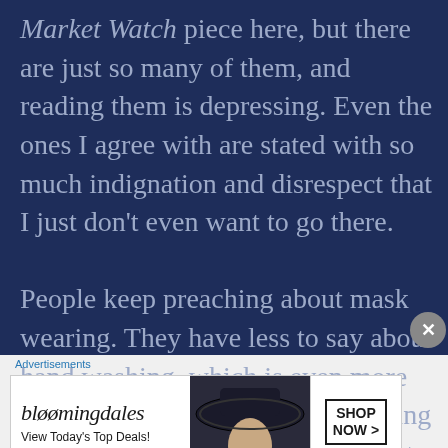Market Watch piece here, but there are just so many of them, and reading them is depressing. Even the ones I agree with are stated with so much indignation and disrespect that I just don't even want to go there.

People keep preaching about mask wearing. They have less to say about hand washing, which is even more important when it comes to arresting disease transmission. But it's easy to see the mask, and so it
[Figure (other): Bloomingdale's advertisement banner: 'View Today's Top Deals!' with a woman wearing a large brimmed hat and a 'SHOP NOW >' button]